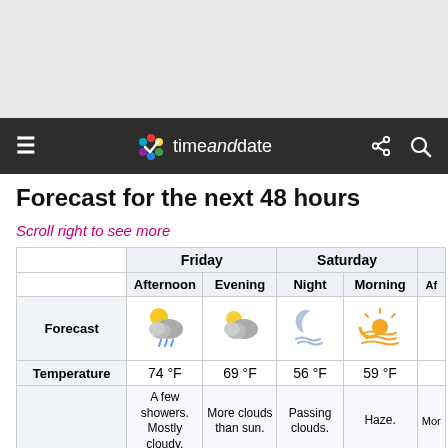timeanddate
Forecast for the next 48 hours
Scroll right to see more
|  | Friday Afternoon | Friday Evening | Saturday Night | Saturday Morning | Saturday Af… |
| --- | --- | --- | --- | --- | --- |
| Forecast | [icon: partly cloudy showers] | [icon: partly cloudy] | [icon: night/moon] | [icon: haze/sun] |  |
| Temperature | 74 °F | 69 °F | 56 °F | 59 °F |  |
|  | A few showers. Mostly cloudy. | More clouds than sun. | Passing clouds. | Haze. | Mor… |
| Feels Like | 77 °F | 69 °F | 55 °F | 59 °F |  |
| Wind Speed | 9 mph | 8 mph | 5 mph | 6 mph |  |